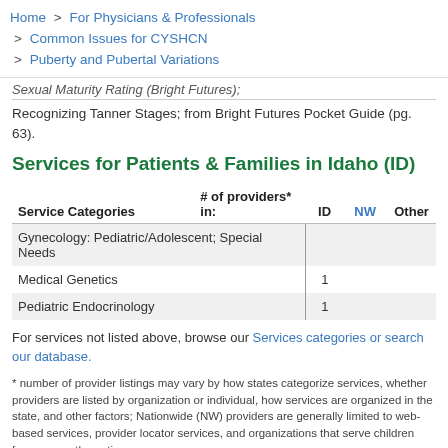Home > For Physicians & Professionals > Common Issues for CYSHCN > Puberty and Pubertal Variations
Sexual Maturity Rating (Bright Futures); Recognizing Tanner Stages; from Bright Futures Pocket Guide (pg. 63).
Services for Patients & Families in Idaho (ID)
| Service Categories | # of providers* in: | ID | NW | Other |
| --- | --- | --- | --- | --- |
| Gynecology: Pediatric/Adolescent; Special Needs |  |  |  |  |
| Medical Genetics |  | 1 |  |  |
| Pediatric Endocrinology |  | 1 |  |  |
For services not listed above, browse our Services categories or search our database.
* number of provider listings may vary by how states categorize services, whether providers are listed by organization or individual, how services are organized in the state, and other factors; Nationwide (NW) providers are generally limited to web-based services, provider locator services, and organizations that serve children from across the nation.